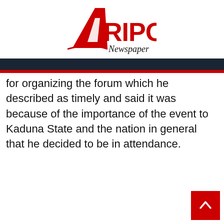Afripost Newspaper
for organizing the forum which he described as timely and said it was because of the importance of the event to Kaduna State and the nation in general that he decided to be in attendance.